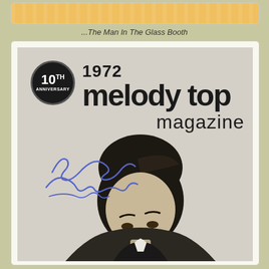[Figure (photo): Top decorative card with tan/golden color and subtle texture pattern]
...The Man In The Glass Booth
[Figure (photo): 1972 Melody Top Magazine cover featuring a signed black and white photo of a man with dark hair. The cover includes a 10th Anniversary badge/seal in the top left, large bold text reading '1972 melody top magazine', and a handwritten autograph in blue ink over the photo.]